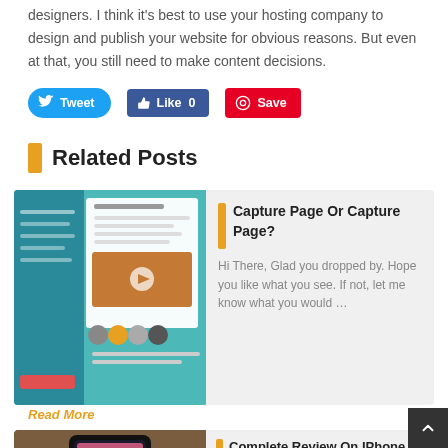designers. I think it's best to use your hosting company to design and publish your website for obvious reasons. But even at that, you still need to make content decisions.
[Figure (screenshot): Social sharing buttons: Tweet (Twitter), Like 0 (Facebook), Save (Pinterest)]
Related Posts
[Figure (screenshot): Screenshot of a helpdesk solution webpage with interface and people images]
Capture Page Or Capture Page?
Hi There, Glad you dropped by. Hope you like what you see. If not, let me know what you would …
Read More
[Figure (photo): Photo of a smartphone on a wooden table]
Complete Review On IPhone Vs Android